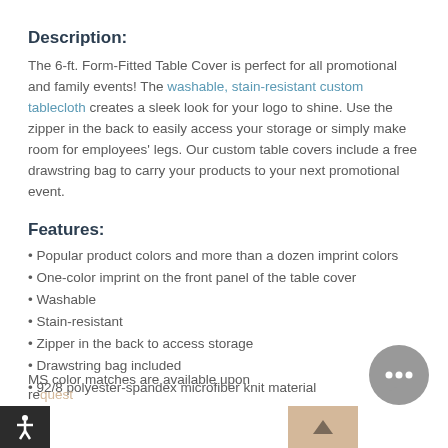Description:
The 6-ft. Form-Fitted Table Cover is perfect for all promotional and family events! The washable, stain-resistant custom tablecloth creates a sleek look for your logo to shine. Use the zipper in the back to easily access your storage or simply make room for employees' legs. Our custom table covers include a free drawstring bag to carry your products to your next promotional event.
Features:
Popular product colors and more than a dozen imprint colors
One-color imprint on the front panel of the table cover
Washable
Stain-resistant
Zipper in the back to access storage
Drawstring bag included
92/8 polyester-spandex microfiber knit material
MS color matches are available upon request